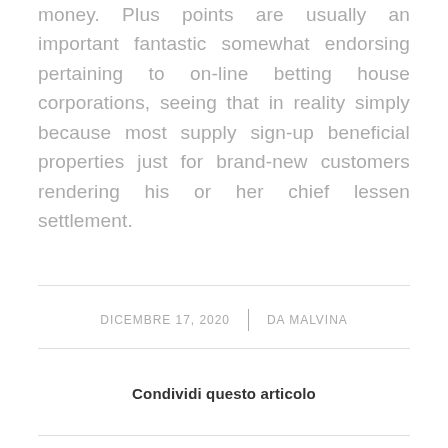money. Plus points are usually an important fantastic somewhat endorsing pertaining to on-line betting house corporations, seeing that in reality simply because most supply sign-up beneficial properties just for brand-new customers rendering his or her chief lessen settlement.
DICEMBRE 17, 2020 | DA MALVINA
Condividi questo articolo